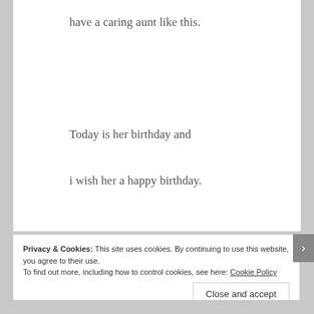have a caring aunt like this.
Today is her birthday and
i wish her a happy birthday.
Privacy & Cookies: This site uses cookies. By continuing to use this website, you agree to their use.
To find out more, including how to control cookies, see here: Cookie Policy
Close and accept